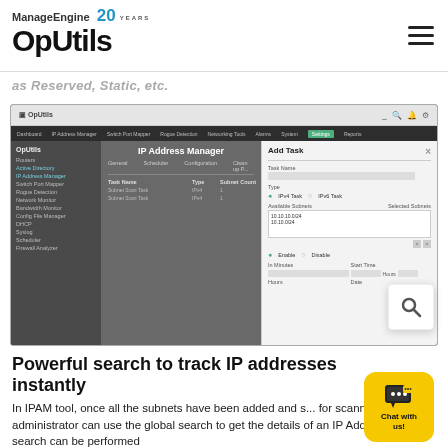ManageEngine OpUtils 20 YEARS
as Reserved, Static, etc.
[Figure (screenshot): Screenshot of OpUtils IP Address Manager interface showing a task list table and an Add Task panel on the right with fields for task name, type, available subnets, enable/disable, and start time settings.]
Powerful search to track IP addresses instantly
In IPAM tool, once all the subnets have been added and s... for scanning, the administrator can use the global search to get the details of an IP Address. The search can be performed